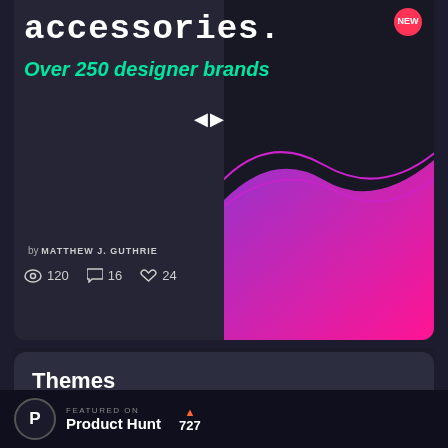accessories.
NEW
Over 250 designer brands
by MATTHEW J. GUTHRIE
120  16  24
[Figure (illustration): Abstract purple-pink gradient wave design on dark background with outlined wave curves]
Themes
Using themes you can create a consistent design for your site
FEATURED ON
Product Hunt
727
< 576px
ur awesome styles.
Make your site design